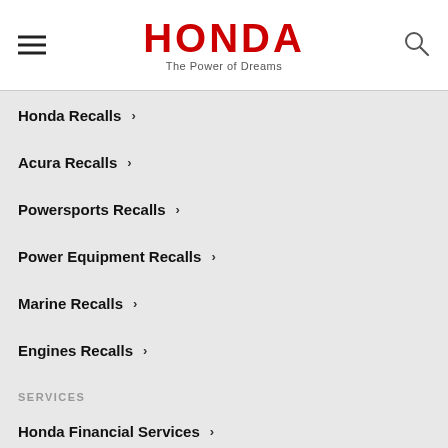HONDA — The Power of Dreams
Honda Recalls
Acura Recalls
Powersports Recalls
Power Equipment Recalls
Marine Recalls
Engines Recalls
SERVICES
Honda Financial Services